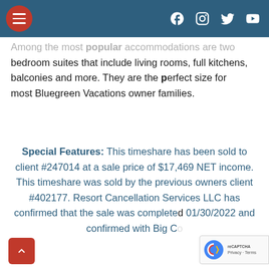Navigation bar with hamburger menu and social icons (Facebook, Instagram, Twitter, YouTube)
Among the most popular accommodations are two bedroom suites that include living rooms, full kitchens, balconies and more. They are the perfect size for most Bluegreen Vacations owner families.
Special Features: This timeshare has been sold to client #247014 at a sale price of $17,469 NET income. This timeshare was sold by the previous owners client #402177. Resort Cancellation Services LLC has confirmed that the sale was completed 01/30/2022 and confirmed with Big C